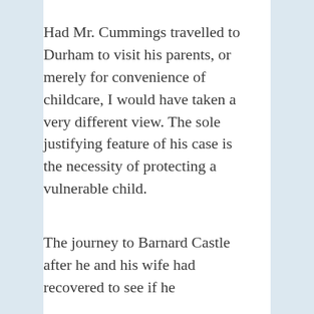Had Mr. Cummings travelled to Durham to visit his parents, or merely for convenience of childcare, I would have taken a very different view. The sole justifying feature of his case is the necessity of protecting a vulnerable child.
The journey to Barnard Castle after he and his wife had recovered to see if he